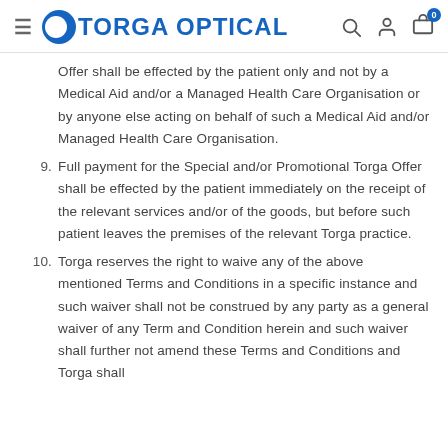Torga Optical
Offer shall be effected by the patient only and not by a Medical Aid and/or a Managed Health Care Organisation or by anyone else acting on behalf of such a Medical Aid and/or Managed Health Care Organisation.
9. Full payment for the Special and/or Promotional Torga Offer shall be effected by the patient immediately on the receipt of the relevant services and/or of the goods, but before such patient leaves the premises of the relevant Torga practice.
10. Torga reserves the right to waive any of the above mentioned Terms and Conditions in a specific instance and such waiver shall not be construed by any party as a general waiver of any Term and Condition herein and such waiver shall further not amend these Terms and Conditions and Torga shall